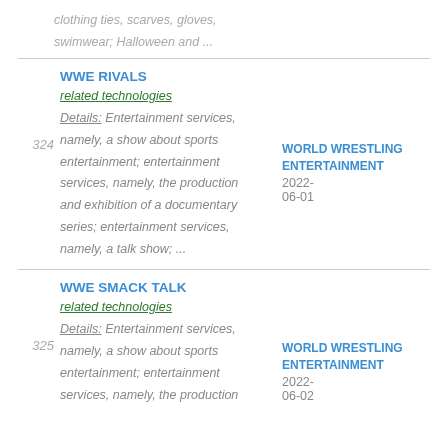clothing ties, scarves, gloves, swimwear; Halloween and ...
WWE RIVALS
related technologies
Details: Entertainment services, namely, a show about sports entertainment; entertainment services, namely, the production and exhibition of a documentary series; entertainment services, namely, a talk show; ...
WORLD WRESTLING ENTERTAINMENT
2022-06-01
WWE SMACK TALK
related technologies
Details: Entertainment services, namely, a show about sports entertainment; entertainment services, namely, the production
WORLD WRESTLING ENTERTAINMENT
2022-06-02